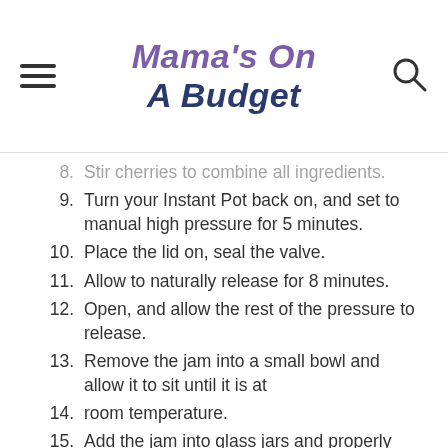Mama's On A Budget
8. Stir cherries to combine all ingredients.
9. Turn your Instant Pot back on, and set to manual high pressure for 5 minutes.
10. Place the lid on, seal the valve.
11. Allow to naturally release for 8 minutes.
12. Open, and allow the rest of the pressure to release.
13. Remove the jam into a small bowl and allow it to sit until it is at
14. room temperature.
15. Add the jam into glass jars and properly seal as directed.
16. Place in your refrigerator.
Notes